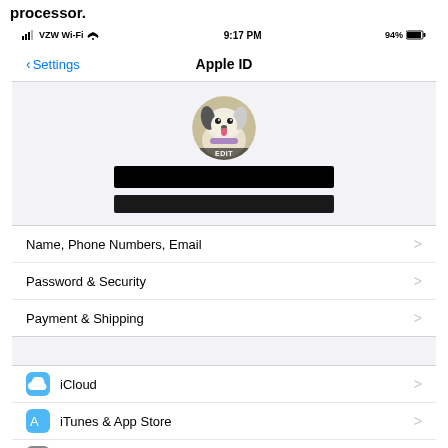processor.
[Figure (screenshot): iPhone iOS Settings screen showing Apple ID page. Status bar shows VZW Wi-Fi signal, 9:17 PM, 94% battery. Nav bar shows back arrow to Settings and title Apple ID. Profile section shows a dog photo avatar with EDIT overlay, and two redacted black bars for name and email. Menu items: Name, Phone Numbers, Email; Password & Security; Payment & Shipping. Section divider. iCloud menu item with cloud icon. iTunes & App Store menu item with App Store icon. Partial third icon item cut off at bottom.]